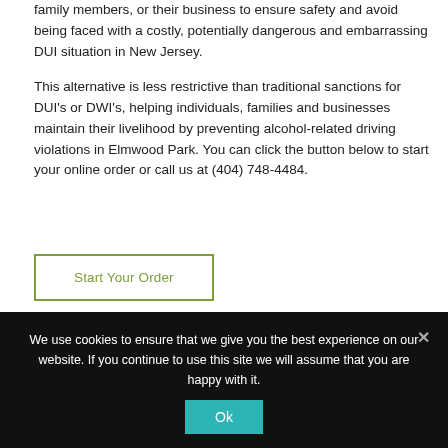family members, or their business to ensure safety and avoid being faced with a costly, potentially dangerous and embarrassing DUI situation in New Jersey.

This alternative is less restrictive than traditional sanctions for DUI's or DWI's, helping individuals, families and businesses maintain their livelihood by preventing alcohol-related driving violations in Elmwood Park. You can click the button below to start your online order or call us at (404) 748-4484.
Start Your Order
[Figure (photo): Partial view of teal/turquoise colored electronic devices (ignition interlock devices) showing rounded rectangular shapes with textured surfaces]
We use cookies to ensure that we give you the best experience on our website. If you continue to use this site we will assume that you are happy with it.
Ok